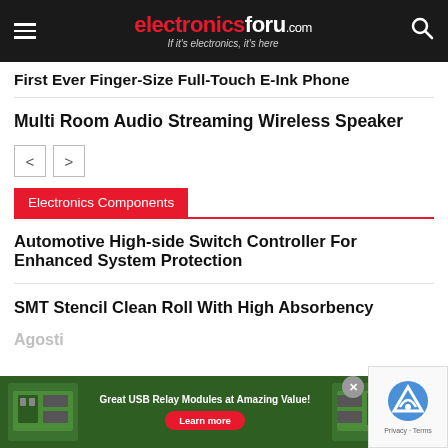electronicsforu.com — If it's electronics, it's here
First Ever Finger-Size Full-Touch E-Ink Phone
Multi Room Audio Streaming Wireless Speaker
Electronics Components
Automotive High-side Switch Controller For Enhanced System Protection
SMT Stencil Clean Roll With High Absorbency
Agosti
[Figure (screenshot): Advertisement banner: Great USB Relay Modules at Amazing Value! with Learn more button and PCB relay module images on green background]